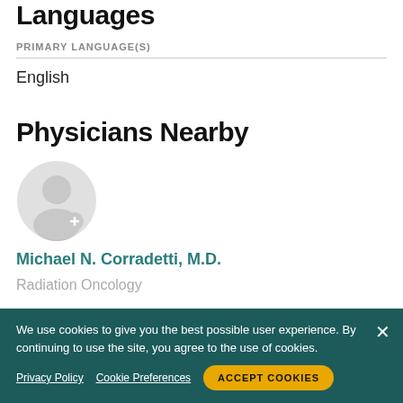Languages
PRIMARY LANGUAGE(S)
English
Physicians Nearby
[Figure (illustration): Placeholder avatar circle with a generic person silhouette and a plus icon]
Michael N. Corradetti, M.D.
Radiation Oncology
We use cookies to give you the best possible user experience. By continuing to use the site, you agree to the use of cookies.
Privacy Policy   Cookie Preferences   ACCEPT COOKIES